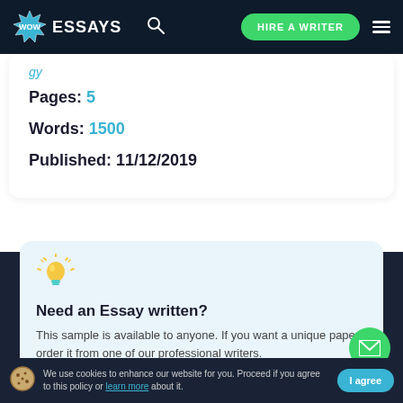WOW ESSAYS | HIRE A WRITER
Pages: 5
Words: 1500
Published: 11/12/2019
[Figure (illustration): Light bulb icon with rays, yellow and teal colors]
Need an Essay written?
This sample is available to anyone. If you want a unique paper, order it from one of our professional writers.
We use cookies to enhance our website for you. Proceed if you agree to this policy or learn more about it.